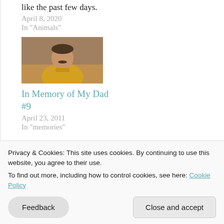like the past few days.
April 8, 2020
In "Animals"
[Figure (photo): Photo of a man in a yellow t-shirt]
In Memory of My Dad #9
April 23, 2011
In "memories"
POSTED IN FAITH, LOVE, SPIRITUALITY
Privacy & Cookies: This site uses cookies. By continuing to use this website, you agree to their use.
To find out more, including how to control cookies, see here: Cookie Policy
Feedback
Close and accept